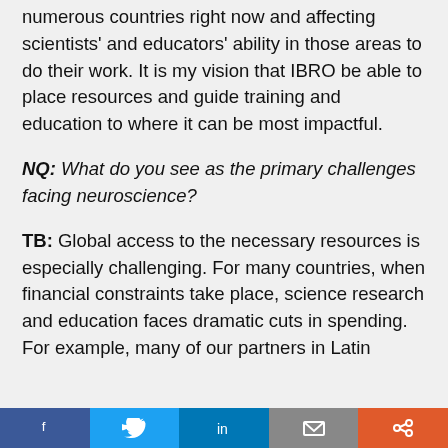numerous countries right now and affecting scientists' and educators' ability in those areas to do their work. It is my vision that IBRO be able to place resources and guide training and education to where it can be most impactful.
NQ: What do you see as the primary challenges facing neuroscience?
TB: Global access to the necessary resources is especially challenging. For many countries, when financial constraints take place, science research and education faces dramatic cuts in spending. For example, many of our partners in Latin
social share bar